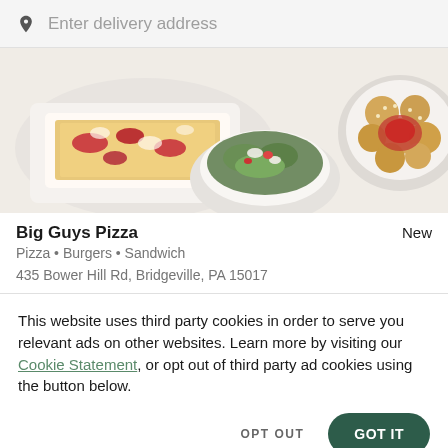Enter delivery address
[Figure (photo): Food photo showing pizza, a bowl of greens with toppings, and a plate of round fried/baked items with red sauce, all on white plates against a light background]
Big Guys Pizza
New
Pizza • Burgers • Sandwich
435 Bower Hill Rd, Bridgeville, PA 15017
This website uses third party cookies in order to serve you relevant ads on other websites. Learn more by visiting our Cookie Statement, or opt out of third party ad cookies using the button below.
OPT OUT
GOT IT